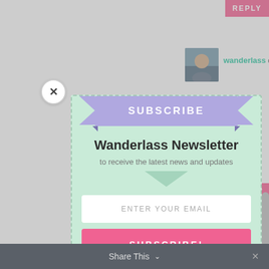[Figure (screenshot): Website page background with user avatar, username 'wanderlass', date '12/20/2012 at 10:29', pink REPLY button, comment box, and partial text.]
[Figure (infographic): Newsletter subscription modal popup with purple ribbon banner labeled SUBSCRIBE, title 'Wanderlass Newsletter', subtitle 'to receive the latest news and updates', email input field, and pink SUBSCRIBE! button.]
SUBSCRIBE
Wanderlass Newsletter
to receive the latest news and updates
ENTER YOUR EMAIL
SUBSCRIBE!
Share This ∨